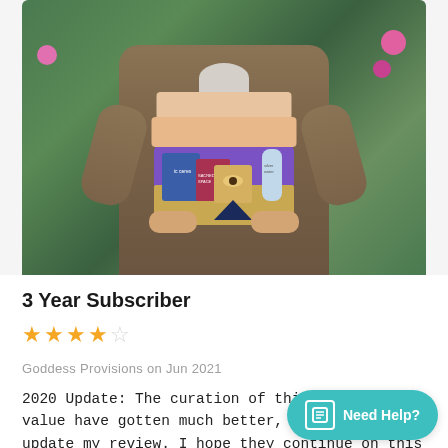[Figure (photo): Person in a leopard-print brown dress holding an open purple subscription box filled with items including a blue bag, bottle, book, and a black pyramid, set against a green leafy background with pink flowers.]
3 Year Subscriber
★★★★☆
Goddess Provisions on Jun 2021
2020 Update: The curation of this box and value have gotten much better, so I wanted to update my review. I hope they continue on this path and provide boxes with a theme. The packing could still use a little